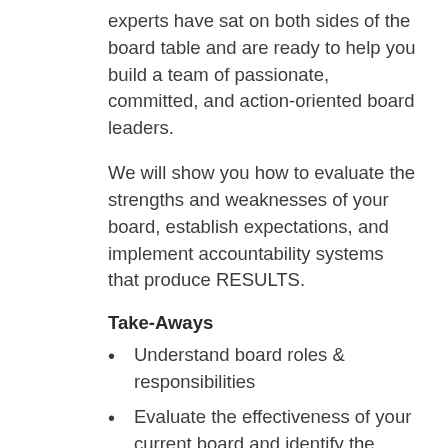experts have sat on both sides of the board table and are ready to help you build a team of passionate, committed, and action-oriented board leaders.
We will show you how to evaluate the strengths and weaknesses of your board, establish expectations, and implement accountability systems that produce RESULTS.
Take-Aways
Understand board roles & responsibilities
Evaluate the effectiveness of your current board and identify the gaps
Identify prospective new board members
Outline expectations for board engagement